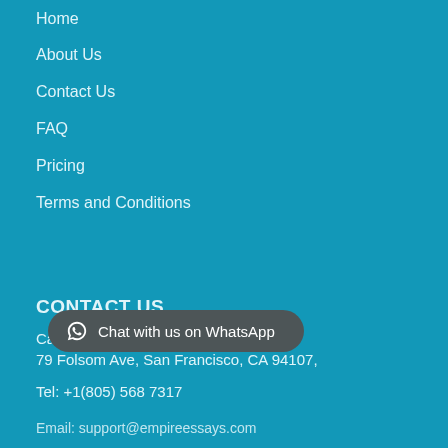Home
About Us
Contact Us
FAQ
Pricing
Terms and Conditions
CONTACT US
California, United States
79 Folsom Ave, San Francisco, CA 94107,
Tel: +1(805) 568 7317
Chat with us on WhatsApp
Email: support@empireessays.com